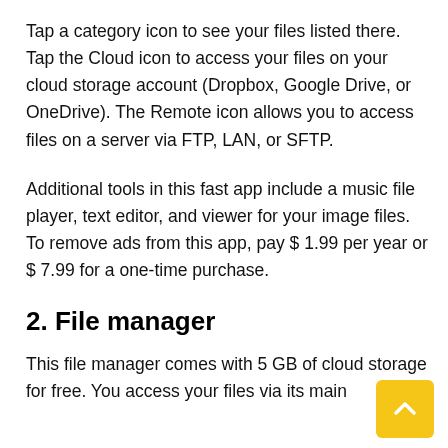Tap a category icon to see your files listed there. Tap the Cloud icon to access your files on your cloud storage account (Dropbox, Google Drive, or OneDrive). The Remote icon allows you to access files on a server via FTP, LAN, or SFTP.
Additional tools in this fast app include a music file player, text editor, and viewer for your image files. To remove ads from this app, pay $ 1.99 per year or $ 7.99 for a one-time purchase.
2. File manager
This file manager comes with 5 GB of cloud storage for free. You access your files via its main